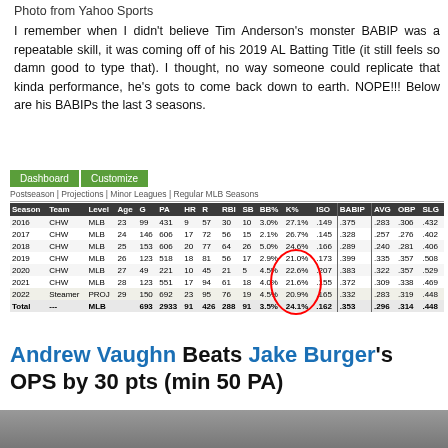Photo from Yahoo Sports
I remember when I didn't believe Tim Anderson's monster BABIP was a repeatable skill, it was coming off of his 2019 AL Batting Title (it still feels so damn good to type that). I thought, no way someone could replicate that kinda performance, he's gots to come back down to earth. NOPE!!! Below are his BABIPs the last 3 seasons.
| Season | Team | Level | Age | G | PA | HR | R | RBI | SB | BB% | K% | ISO | BABIP | AVG | OBP | SLG |
| --- | --- | --- | --- | --- | --- | --- | --- | --- | --- | --- | --- | --- | --- | --- | --- | --- |
| 2016 | CHW | MLB | 23 | 99 | 431 | 9 | 57 | 30 | 10 | 3.0% | 27.1% | .149 | .375 | .283 | .306 | .432 |
| 2017 | CHW | MLB | 24 | 146 | 606 | 17 | 72 | 56 | 15 | 2.1% | 26.7% | .145 | .328 | .257 | .276 | .402 |
| 2018 | CHW | MLB | 25 | 153 | 606 | 20 | 77 | 64 | 26 | 5.0% | 24.6% | .166 | .289 | .240 | .281 | .406 |
| 2019 | CHW | MLB | 26 | 123 | 518 | 18 | 81 | 56 | 17 | 2.9% | 21.0% | .173 | .399 | .335 | .357 | .508 |
| 2020 | CHW | MLB | 27 | 49 | 221 | 10 | 45 | 21 | 5 | 4.5% | 22.6% | .207 | .383 | .322 | .357 | .529 |
| 2021 | CHW | MLB | 28 | 123 | 551 | 17 | 94 | 61 | 18 | 4.0% | 21.6% | .155 | .372 | .309 | .338 | .469 |
| 2022 | Steamer | PROJ | 29 | 150 | 692 | 23 | 95 | 76 | 19 | 4.5% | 20.9% | .165 | .332 | .283 | .319 | .448 |
| Total | --- | MLB |  | 693 | 2933 | 91 | 426 | 288 | 91 | 3.5% | 24.1% | .162 | .353 | .296 | .314 | .448 |
Andrew Vaughn Beats Jake Burger's OPS by 30 pts (min 50 PA)
[Figure (photo): Bottom photo partially visible, appears to be a sports photo]